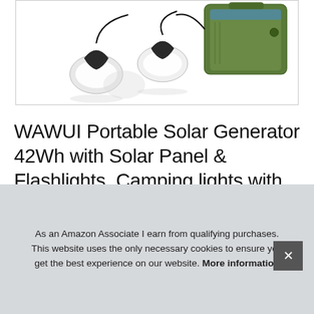[Figure (photo): Product photo showing solar generator kit with flashlight lanterns and a green portable power station box]
WAWUI Portable Solar Generator 42Wh with Solar Panel & Flashlights, Camping lights with Battery, Solar Powered Generator Kit for Emergency Ba... Hu...
As an Amazon Associate I earn from qualifying purchases. This website uses the only necessary cookies to ensure you get the best experience on our website. More information